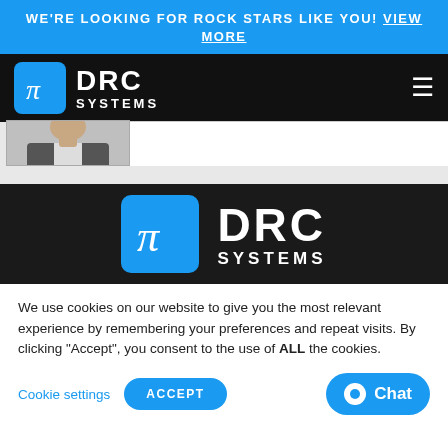WE'RE LOOKING FOR ROCK STARS LIKE YOU! VIEW MORE
[Figure (logo): DRC Systems logo with pi symbol in blue box on black navigation bar with hamburger menu]
[Figure (photo): Partial photo of a person in a suit, cropped showing shoulders and bottom of face]
[Figure (logo): DRC Systems logo centered on dark background - larger version with pi symbol in blue box]
We use cookies on our website to give you the most relevant experience by remembering your preferences and repeat visits. By clicking "Accept", you consent to the use of ALL the cookies.
Cookie settings  ACCEPT  Chat